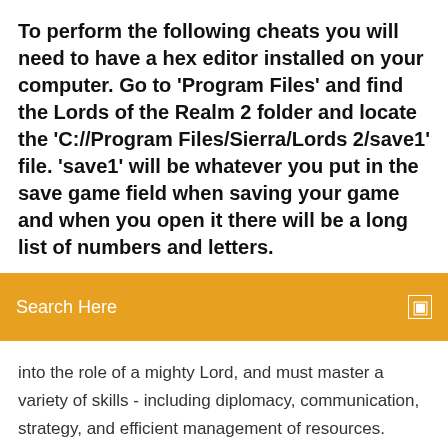To perform the following cheats you will need to have a hex editor installed on your computer. Go to 'Program Files' and find the Lords of the Realm 2 folder and locate the 'C://Program Files/Sierra/Lords 2/save1' file. 'save1' will be whatever you put in the save game field when saving your game and when you open it there will be a long list of numbers and letters.
Search Here
into the role of a mighty Lord, and must master a variety of skills - including diplomacy, communication, strategy, and efficient management of resources. Many Lords will accept the challenge, but only one will rise and become King! STORIES. Markus story. A Rise of the Kings story featuring Markus Kings Of The Realm Cheats, Cheat Codes, Hints and ... This page contains Cheats for Kings Of The Realm organized by sections for iPhone - iPad. This game has "Strategy" as genre, made by Kabam, released on May 27, 2014. If you can't find a hint or